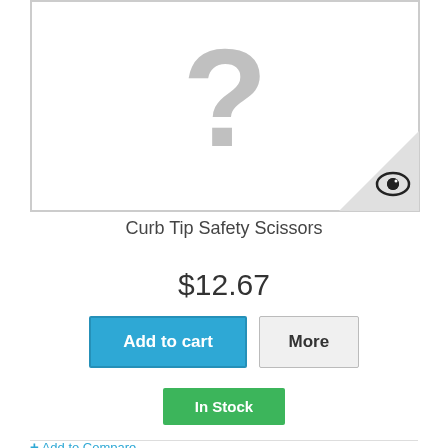[Figure (photo): Product image placeholder with a large gray question mark on white background, with an eye icon in the bottom-right corner triangle overlay]
Curb Tip Safety Scissors
$12.67
Add to cart
More
In Stock
+ Add to Compare